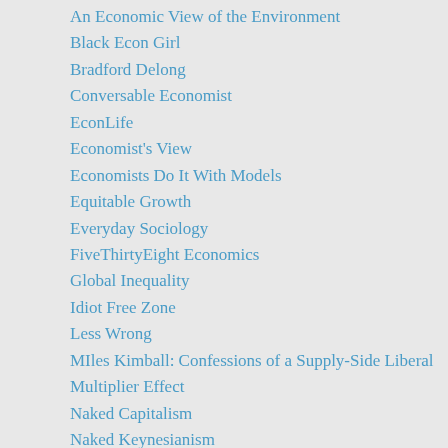An Economic View of the Environment
Black Econ Girl
Bradford Delong
Conversable Economist
EconLife
Economist's View
Economists Do It With Models
Equitable Growth
Everyday Sociology
FiveThirtyEight Economics
Global Inequality
Idiot Free Zone
Less Wrong
MIles Kimball: Confessions of a Supply-Side Liberal
Multiplier Effect
Naked Capitalism
Naked Keynesianism
Paul Romer
Punditburo
Quantitative Ease